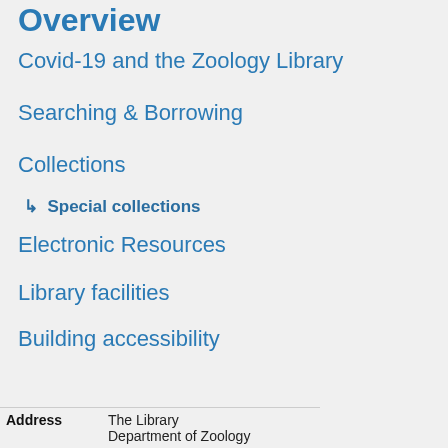Overview
Covid-19 and the Zoology Library
Searching & Borrowing
Collections
↳ Special collections
Electronic Resources
Library facilities
Building accessibility
| Address |  |
| --- | --- |
| Address | The Library
Department of Zoology |